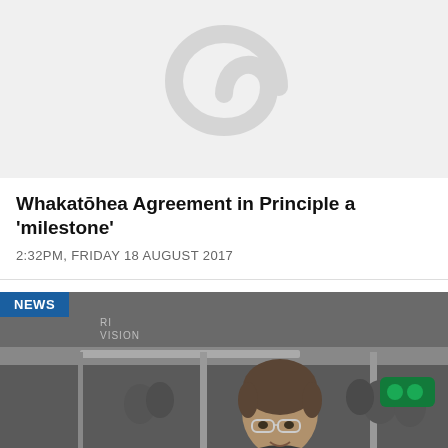[Figure (photo): Grey background with a Māori koru (spiral) symbol in lighter grey, serving as a placeholder image for the article.]
Whakatōhea Agreement in Principle a 'milestone'
2:32PM, FRIDAY 18 AUGUST 2017
[Figure (screenshot): News video thumbnail showing a man being interviewed outdoors with a NEWS badge overlay in top left and Māori Television branding visible. People are gathered in the background.]